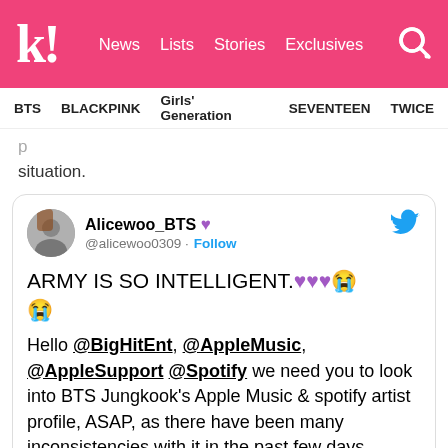k! News Lists Stories Exclusives
BTS BLACKPINK Girls' Generation SEVENTEEN TWICE
play that situation.
Alicewoo_BTS @alicewoo0309 · Follow
ARMY IS SO INTELLIGENT. 💜💜💜😭😭
Hello @BigHitEnt, @AppleMusic, @AppleSupport @Spotify we need you to look into BTS Jungkook's Apple Music & spotify artist profile, ASAP, as there have been many inconsistencies with it in the past few days.